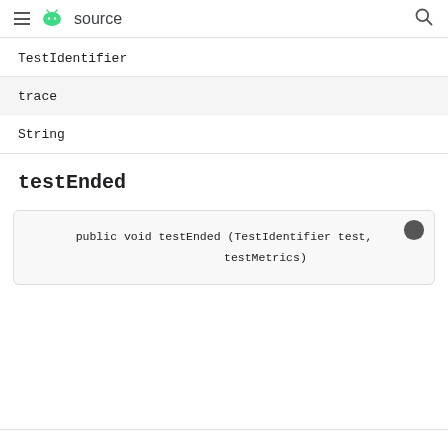≡  source  🔍
TestIdentifier
trace
String
testEnded
public void testEnded (TestIdentifier test, testMetrics)